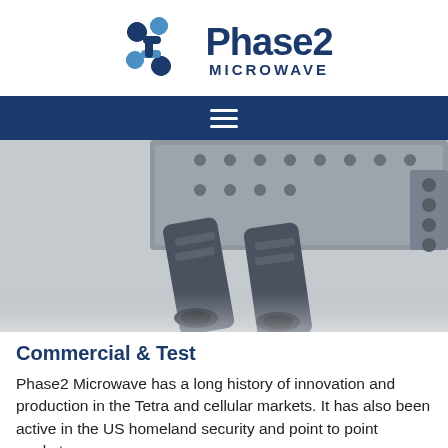[Figure (logo): Phase2 Microwave logo with interconnected blue molecule/node shapes and bold text reading 'Phase2 MICROWAVE']
[Figure (photo): Close-up photo of a metal microwave filter/combiner device with multiple SMA or N-type RF connectors attached, shown on a white background]
Commercial & Test
Phase2 Microwave has a long history of innovation and production in the Tetra and cellular markets. It has also been active in the US homeland security and point to point markets.